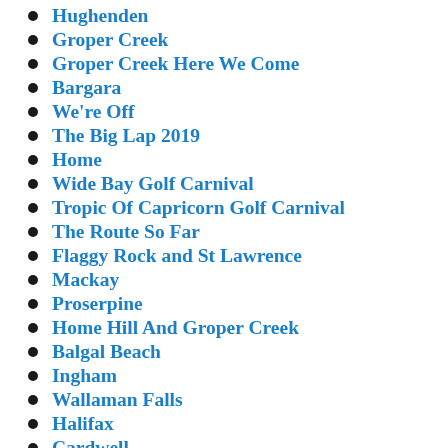Hughenden
Groper Creek
Groper Creek Here We Come
Bargara
We're Off
The Big Lap 2019
Home
Wide Bay Golf Carnival
Tropic Of Capricorn Golf Carnival
The Route So Far
Flaggy Rock and St Lawrence
Mackay
Proserpine
Home Hill And Groper Creek
Balgal Beach
Ingham
Wallaman Falls
Halifax
Cardwell